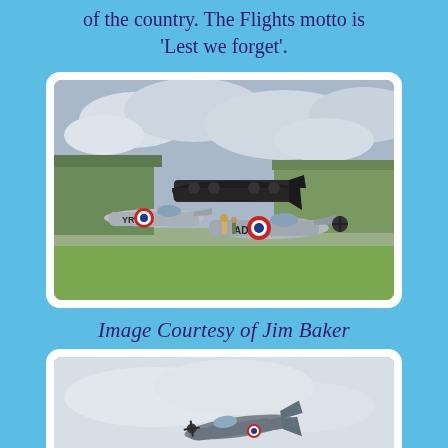of the country. The Flights motto is 'Lest we forget'.
[Figure (photo): WWII aircraft on an airfield — two Spitfires (one marked YR, one marked AD) and a Lancaster bomber in the background, with green hangars visible and cloudy sky.]
Image Courtesy of Jim Baker
[Figure (photo): A Spitfire aircraft in flight against a pale overcast sky, viewed from below-side angle.]